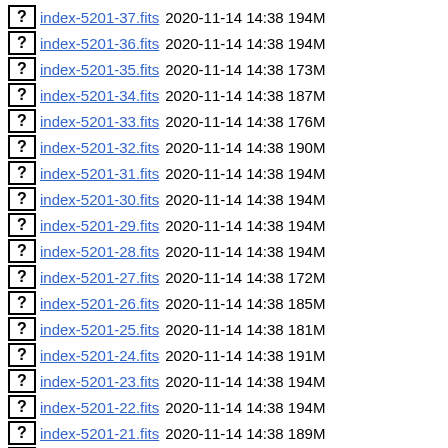index-5201-37.fits 2020-11-14 14:38 194M
index-5201-36.fits 2020-11-14 14:38 194M
index-5201-35.fits 2020-11-14 14:38 173M
index-5201-34.fits 2020-11-14 14:38 187M
index-5201-33.fits 2020-11-14 14:38 176M
index-5201-32.fits 2020-11-14 14:38 190M
index-5201-31.fits 2020-11-14 14:38 194M
index-5201-30.fits 2020-11-14 14:38 194M
index-5201-29.fits 2020-11-14 14:38 194M
index-5201-28.fits 2020-11-14 14:38 194M
index-5201-27.fits 2020-11-14 14:38 172M
index-5201-26.fits 2020-11-14 14:38 185M
index-5201-25.fits 2020-11-14 14:38 181M
index-5201-24.fits 2020-11-14 14:38 191M
index-5201-23.fits 2020-11-14 14:38 194M
index-5201-22.fits 2020-11-14 14:38 194M
index-5201-21.fits 2020-11-14 14:38 189M
index-5201-20.fits 2020-11-14 14:38 192M